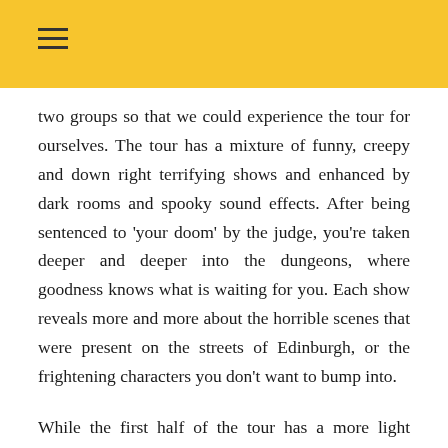two groups so that we could experience the tour for ourselves. The tour has a mixture of funny, creepy and down right terrifying shows and enhanced by dark rooms and spooky sound effects. After being sentenced to 'your doom' by the judge, you're taken deeper and deeper into the dungeons, where goodness knows what is waiting for you. Each show reveals more and more about the horrible scenes that were present on the streets of Edinburgh, or the frightening characters you don't want to bump into.
While the first half of the tour has a more light hearted feel to it, with some funnier characters telling their tales, the second half of the tour can